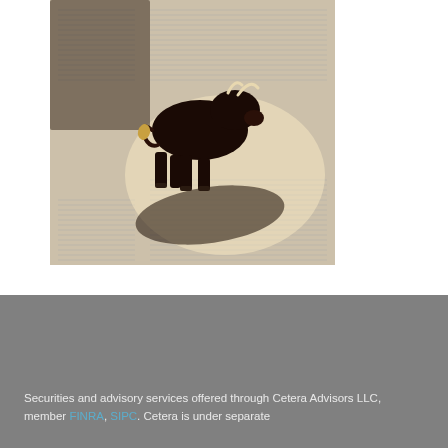[Figure (photo): A black bull figurine/statue standing on open newspaper financial pages (stock listings), cast in dramatic spotlight with shadow visible on the paper below.]
Securities and advisory services offered through Cetera Advisors LLC, member FINRA, SIPC. Cetera is under separate